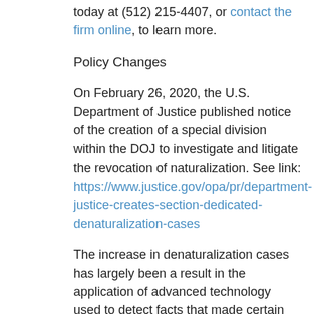today at (512) 215-4407, or contact the firm online, to learn more.
Policy Changes
On February 26, 2020, the U.S. Department of Justice published notice of the creation of a special division within the DOJ to investigate and litigate the revocation of naturalization. See link: https://www.justice.gov/opa/pr/department-justice-creates-section-dedicated-denaturalization-cases
The increase in denaturalization cases has largely been a result in the application of advanced technology used to detect facts that made certain individuals ineligible for citizenship at the time their N-400 naturalization application was approved. For example, let's say you immigrated as the unmarried son of a lawful